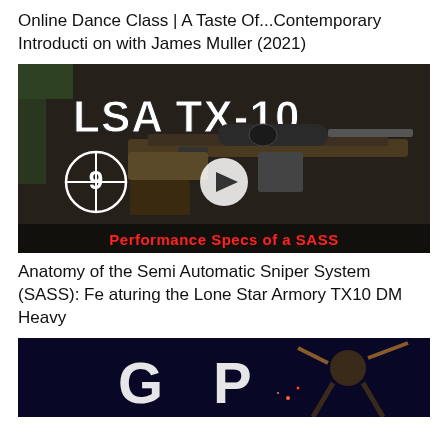Online Dance Class | A Taste Of...Contemporary Introduction with James Muller (2021)
[Figure (screenshot): Thumbnail of video showing LSA TX-10 rifle on dark background with text 'LSA TX-10', crosshair with number 9, play button, and red text 'Performance Specs of a SASS']
Anatomy of the Semi Automatic Sniper System (SASS): Featuring the Lone Star Armory TX10 DM Heavy
[Figure (screenshot): Partial thumbnail of a second video showing a logo with letters 'GP' and a character with wings on dark blue background]